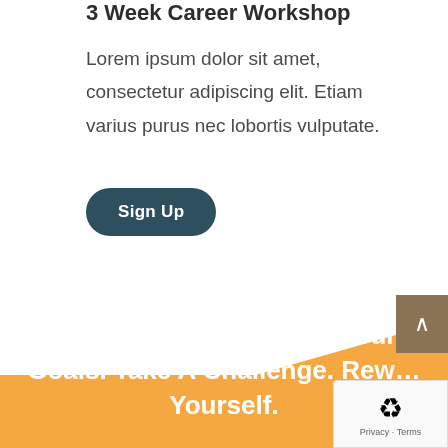3 Week Career Workshop
Lorem ipsum dolor sit amet, consectetur adipiscing elit. Etiam varius purus nec lobortis vulputate.
Sign Up
[Figure (illustration): Orange diagonal triangle shape forming a section divider transitioning from white to orange background]
Find Your Balance. Set Your Goals. Take A Challenge. Reward Yourself.